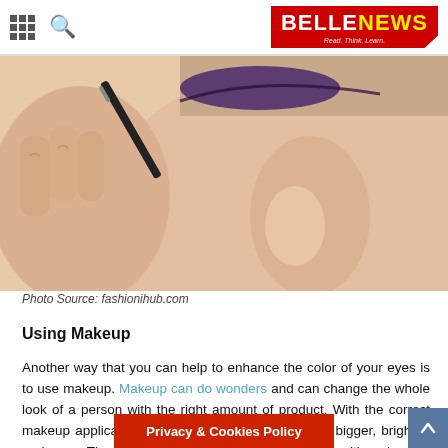BELLENEWS — Read. Think. Learn.
[Figure (photo): Close-up of a person applying eye makeup with a dark pencil/eyeliner near the eyebrow area. The person's face shows smooth skin and a partially visible eye with dark makeup applied.]
Photo Source: fashionihub.com
Using Makeup
Another way that you can help to enhance the color of your eyes is to use makeup. Makeup can do wonders and can change the whole look of a person with the right amount of product. With the correct makeup application, you can make your eyes look bigger, brighter, and more. The first step to enhancing your eye color with makeup is to figure out where your eye color falls on the color wheel. You will then need to figure out what color is opposite on the color wheel to find the shade that best enhances y
Privacy & Cookies Policy